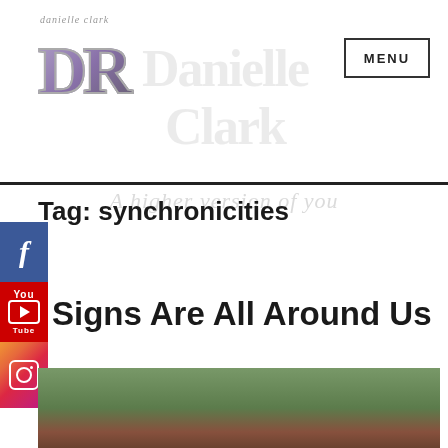[Figure (logo): DR logo with 'danielle clark' script text and large stylized DR letters in purple/grey gradient]
MENU
A higher version of YOU
Tag: synchronicities
[Figure (other): Facebook, YouTube, and Instagram social media icon buttons stacked vertically on the left side]
Signs Are All Around Us
[Figure (photo): Photo of a red cardinal bird perched on a branch with spring leaves/buds, blurred green background]